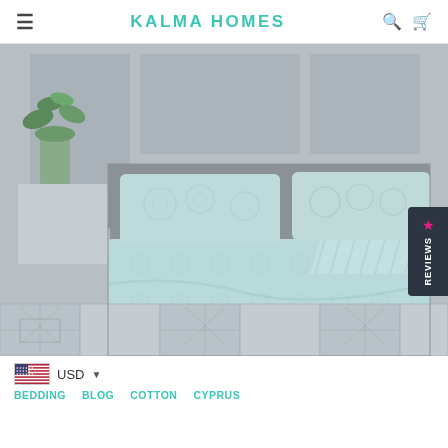KALMA HOMES
[Figure (photo): Product photo of light mint/teal bedding set with damask and stripe patterns on a bed in a styled bedroom setting]
USD ▼
BEDDING   BLOG   COTTON   CYPRUS